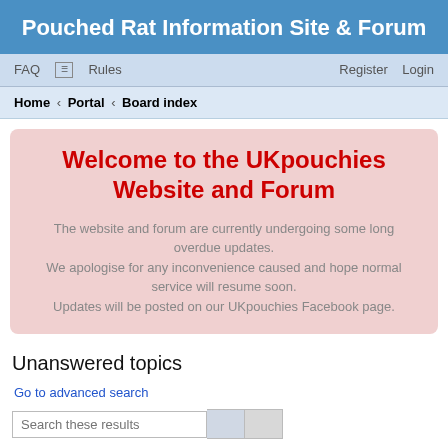Pouched Rat Information Site & Forum
FAQ  Rules   Register  Login
Home › Portal › Board index
Welcome to the UKpouchies Website and Forum
The website and forum are currently undergoing some long overdue updates.
We apologise for any inconvenience caused and hope normal service will resume soon.
Updates will be posted on our UKpouchies Facebook page.
Unanswered topics
Go to advanced search
Search these results